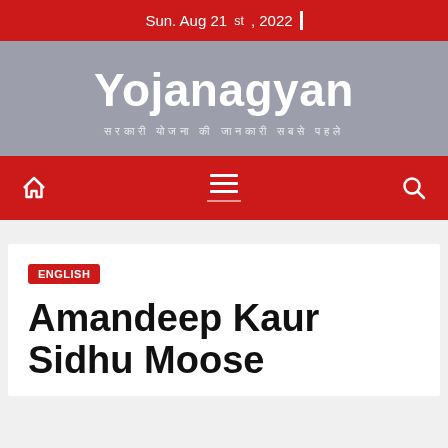Sun. Aug 21st, 2022
Yojanagyan
सरकारी योजना की जानकारी सबसे पहले
[Figure (screenshot): Navigation bar with home icon, hamburger menu, and search icon on red background]
ENGLISH
Amandeep Kaur Sidhu Moose